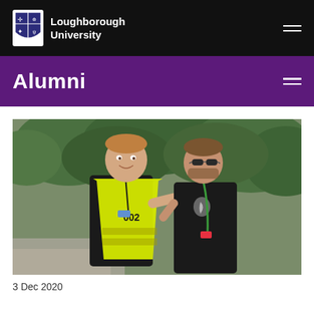Loughborough University
Alumni
[Figure (photo): Two men standing outdoors in front of trees. The man on the left wears a yellow high-visibility vest with '002' printed on it and has a lanyard. The man on the right wears a black New Zealand All Blacks jersey with a green lanyard and sunglasses. Both are smiling at the camera.]
3 Dec 2020